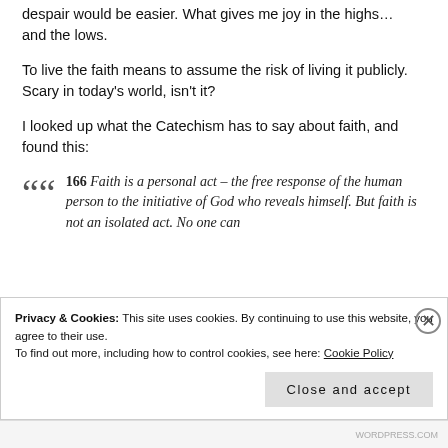despair would be easier. What gives me joy in the highs… and the lows.
To live the faith means to assume the risk of living it publicly. Scary in today's world, isn't it?
I looked up what the Catechism has to say about faith, and found this:
166 Faith is a personal act – the free response of the human person to the initiative of God who reveals himself. But faith is not an isolated act. No one can
Privacy & Cookies: This site uses cookies. By continuing to use this website, you agree to their use. To find out more, including how to control cookies, see here: Cookie Policy
Close and accept